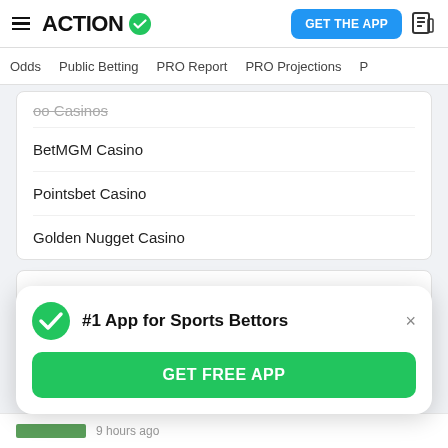ACTION | GET THE APP
Odds | Public Betting | PRO Report | PRO Projections
BetMGM Casino
Pointsbet Casino
Golden Nugget Casino
Top Stories
#1 App for Sports Bettors
GET FREE APP